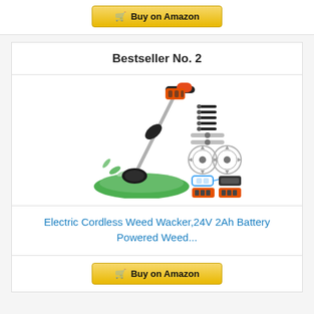[Figure (other): Buy on Amazon button at top of page]
Bestseller No. 2
[Figure (photo): Electric cordless weed wacker product image with accessories including blades, saw blades, safety glasses, and two batteries]
Electric Cordless Weed Wacker,24V 2Ah Battery Powered Weed...
[Figure (other): Buy on Amazon button at bottom of page]